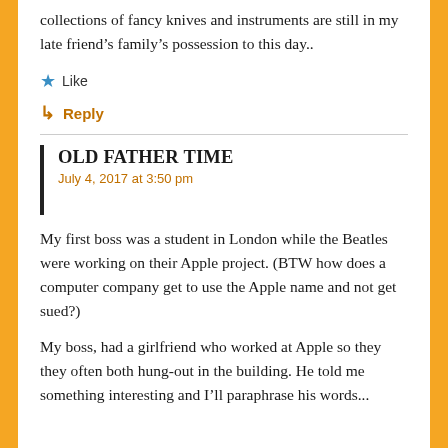collections of fancy knives and instruments are still in my late friend’s family’s possession to this day..
★ Like
↳ Reply
OLD FATHER TIME
July 4, 2017 at 3:50 pm
My first boss was a student in London while the Beatles were working on their Apple project. (BTW how does a computer company get to use the Apple name and not get sued?)
My boss, had a girlfriend who worked at Apple so they they often both hung-out in the building. He told me something interesting and I’ll paraphrase his words...